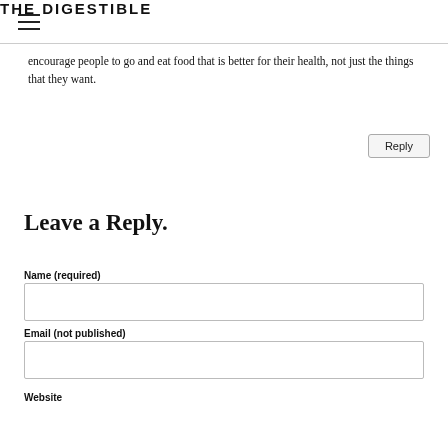THE DIGESTIBLE
encourage people to go and eat food that is better for their health, not just the things that they want.
Reply
Leave a Reply.
Name (required)
Email (not published)
Website